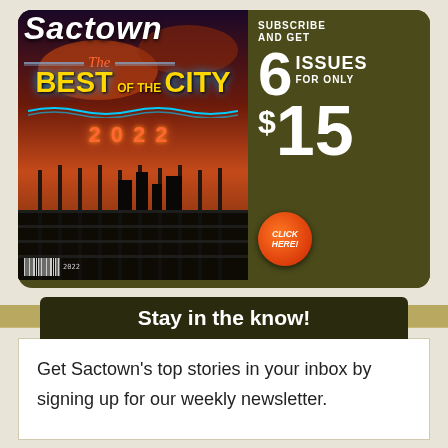[Figure (illustration): Sactown magazine subscription advertisement showing the Best of the City 2022 issue cover on the left (dark background with golden 'BEST OF THE CITY' text and neon '2022' numeral), and on the right dark olive background with white bold text: 'SUBSCRIBE AND GET 6 ISSUES FOR ONLY $15' with an orange 'CLICK HERE!' button badge.]
Stay in the know!
Get Sactown's top stories in your inbox by signing up for our weekly newsletter.